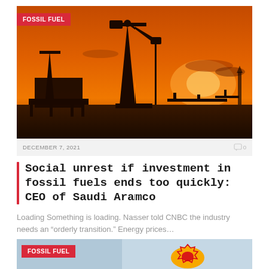[Figure (photo): Oil pump jack silhouette against an orange sunset sky with industrial equipment in background]
FOSSIL FUEL
DECEMBER 7, 2021   0
Social unrest if investment in fossil fuels ends too quickly: CEO of Saudi Aramco
Loading Something is loading. Nasser told CNBC the industry needs an “orderly transition.” Energy prices…
[Figure (photo): Bottom strip showing another article with FOSSIL FUEL tag and partial logo image on blue-gray background]